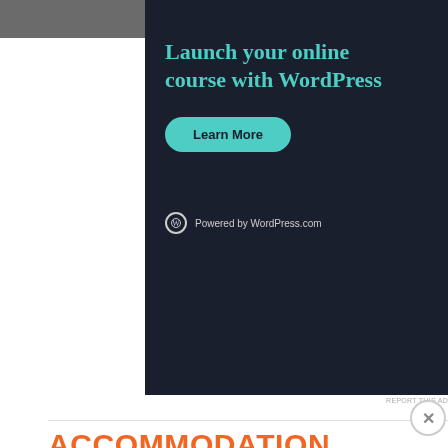BACK TO TOP
[Figure (screenshot): WordPress.com advertisement banner with dark background. Text reads: 'Launch your online course with WordPress' with a teal 'Learn More' button and 'Powered by WordPress.com' footer with WordPress logo.]
REPORT THIS AD
ACCOMMODATION
Advertisements
[Figure (screenshot): Pocket Casts advertisement banner on red background. Text reads 'An app by listeners, for listeners.' with Pocket Casts logo and a phone image with 'Distributed' text.]